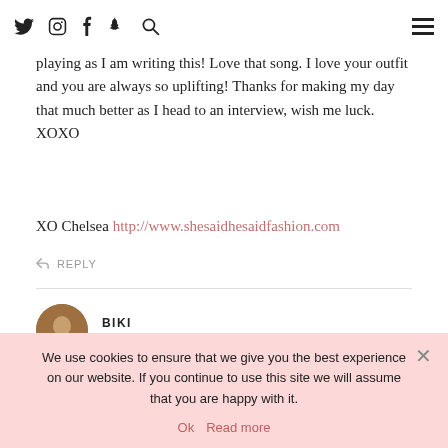goosebumps. I do need to realize how lucky I am and "Gathering in Water" by Carrie Underwood is playing as I am writing this! Love that song.
playing as I am writing this! Love that song. I love your outfit and you are always so uplifting! Thanks for making my day that much better as I head to an interview, wish me luck. XOXO
XO Chelsea http://www.shesaidhesaidfashion.com
↩ REPLY
BIKI
MARCH 2, 2016 / 12:03 PM
I love it when that happens when I'm having a really bad day
We use cookies to ensure that we give you the best experience on our website. If you continue to use this site we will assume that you are happy with it.
Ok  Read more